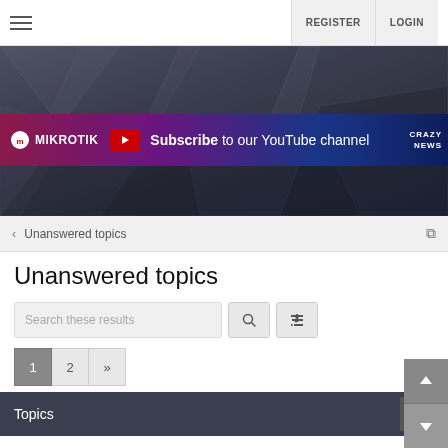REGISTER  LOGIN
[Figure (screenshot): MikroTik banner with YouTube subscribe strip: 'Subscribe to our YouTube channel' with MikroTik logo]
< Unanswered topics
Unanswered topics
Search these results
1  2  »
Topics
RECV RouteRefresh with invalid subtype: 0